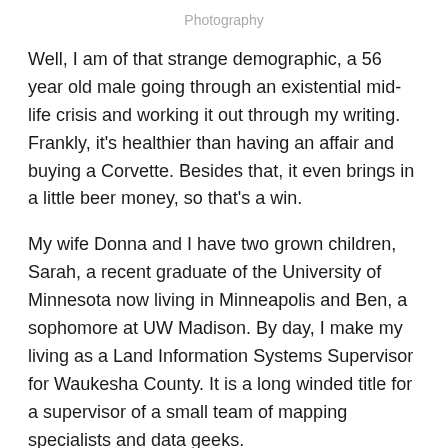Photography
Well, I am of that strange demographic, a 56 year old male going through an existential mid-life crisis and working it out through my writing. Frankly, it's healthier than having an affair and buying a Corvette. Besides that, it even brings in a little beer money, so that's a win.
My wife Donna and I have two grown children, Sarah, a recent graduate of the University of Minnesota now living in Minneapolis and Ben, a sophomore at UW Madison. By day, I make my living as a Land Information Systems Supervisor for Waukesha County. It is a long winded title for a supervisor of a small team of mapping specialists and data geeks.
I've always enjoyed writing, ever since I was a kid. In